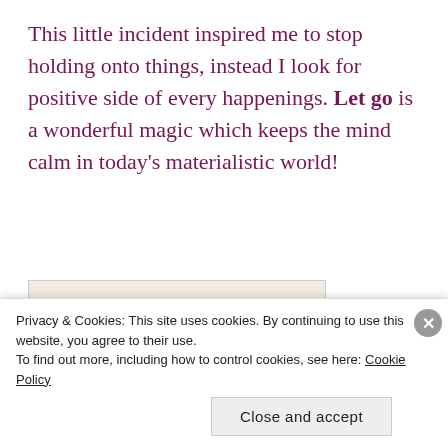This little incident inspired me to stop holding onto things, instead I look for positive side of every happenings. Let go is a wonderful magic which keeps the mind calm in today's materialistic world!
[Figure (illustration): Words Matter - let them flow logo with decorative leaves and a pencil on a textured cream background]
Privacy & Cookies: This site uses cookies. By continuing to use this website, you agree to their use.
To find out more, including how to control cookies, see here: Cookie Policy
Close and accept